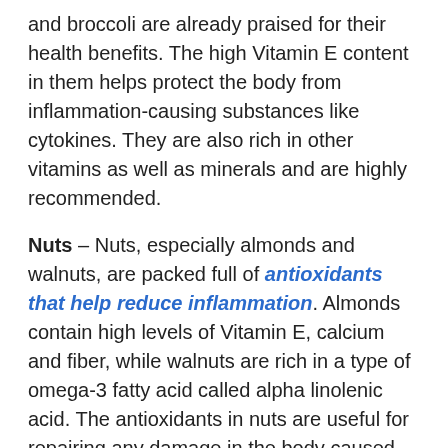and broccoli are already praised for their health benefits. The high Vitamin E content in them helps protect the body from inflammation-causing substances like cytokines. They are also rich in other vitamins as well as minerals and are highly recommended.
Nuts – Nuts, especially almonds and walnuts, are packed full of antioxidants that help reduce inflammation. Almonds contain high levels of Vitamin E, calcium and fiber, while walnuts are rich in a type of omega-3 fatty acid called alpha linolenic acid. The antioxidants in nuts are useful for repairing any damage in the body caused by inflammation.
Soy – Soy and soy products are a rich source of isoflavones, which lower the levels of C-reactive proteins in the body and thus reduce the chances of inflammation.